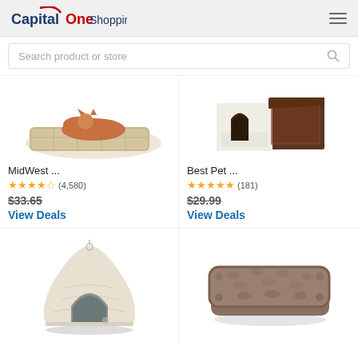Capital One Shopping
Search product or store
[Figure (photo): MidWest pet bed product image - a tan/beige pet mat with a cat lying on it]
MidWest ...
★★★★★ (4,580)
$33.65
View Deals
[Figure (photo): Best Pet product image - a brown/cream pet house/cube with interior cushion visible]
Best Pet ...
★★★★★ (181)
$29.99
View Deals
[Figure (photo): Cream/ivory igloo-style pet tent/tipi bed]
[Figure (photo): Brown/taupe plush pet mat/cushion bed]